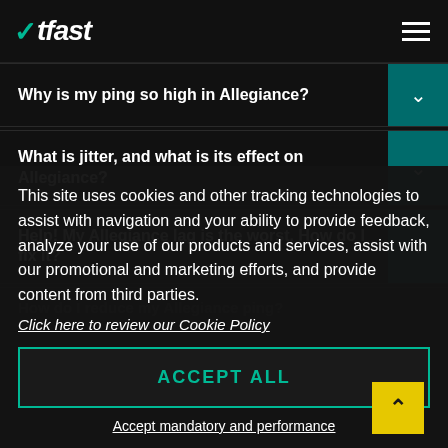WTFast
Why is my ping so high in Allegiance?
What is jitter, and what is its effect on Allegiance?
Help! My Allegiance lag is the worst. How do I fix it?
How do I reduce my Allegiance ping?
This site uses cookies and other tracking technologies to assist with navigation and your ability to provide feedback, analyze your use of our products and services, assist with our promotional and marketing efforts, and provide content from third parties.
Click here to review our Cookie Policy
ACCEPT ALL
Accept mandatory and performance